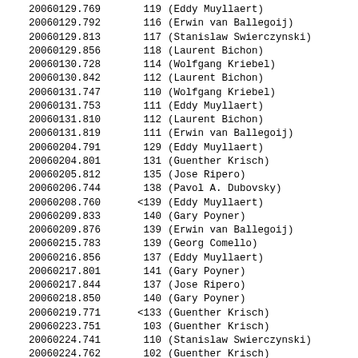| 20060129.769 | 119 | (Eddy Muyllaert) |
| 20060129.792 | 116 | (Erwin van Ballegoij) |
| 20060129.813 | 117 | (Stanislaw Swierczynski) |
| 20060129.856 | 118 | (Laurent Bichon) |
| 20060130.728 | 114 | (Wolfgang Kriebel) |
| 20060130.842 | 112 | (Laurent Bichon) |
| 20060131.747 | 110 | (Wolfgang Kriebel) |
| 20060131.753 | 111 | (Eddy Muyllaert) |
| 20060131.810 | 112 | (Laurent Bichon) |
| 20060131.819 | 111 | (Erwin van Ballegoij) |
| 20060204.791 | 129 | (Eddy Muyllaert) |
| 20060204.801 | 131 | (Guenther Krisch) |
| 20060205.812 | 135 | (Jose Ripero) |
| 20060206.744 | 138 | (Pavol A. Dubovsky) |
| 20060208.760 | <139 | (Eddy Muyllaert) |
| 20060209.833 | 140 | (Gary Poyner) |
| 20060209.876 | 139 | (Erwin van Ballegoij) |
| 20060215.783 | 139 | (Georg Comello) |
| 20060216.856 | 137 | (Eddy Muyllaert) |
| 20060217.801 | 141 | (Gary Poyner) |
| 20060217.844 | 137 | (Jose Ripero) |
| 20060218.850 | 140 | (Gary Poyner) |
| 20060219.771 | <133 | (Guenther Krisch) |
| 20060223.751 | 103 | (Guenther Krisch) |
| 20060224.741 | 110 | (Stanislaw Swierczynski) |
| 20060224.762 | 102 | (Guenther Krisch) |
| 20060224.783 | 112 | (Georg Comello) |
| 20060225.784 | 112 | (Erwin van Ballegoij) |
| 20060225.802 | 114 | (Eddy Muyllaert) |
| 20060226.753 | 116 | (Guenther Krisch) |
| 20060226.784 | ... | (Eddy Muyllaert) |